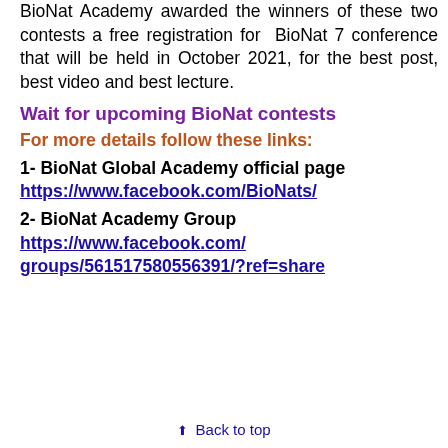BioNat Academy awarded the winners of these two contests a free registration for BioNat 7 conference that will be held in October 2021, for the best post, best video and best lecture.
Wait for upcoming BioNat contests
For more details follow these links:
1- BioNat Global Academy official page
https://www.facebook.com/BioNats/
2- BioNat Academy Group
https://www.facebook.com/groups/561517580556391/?ref=share
Back to top